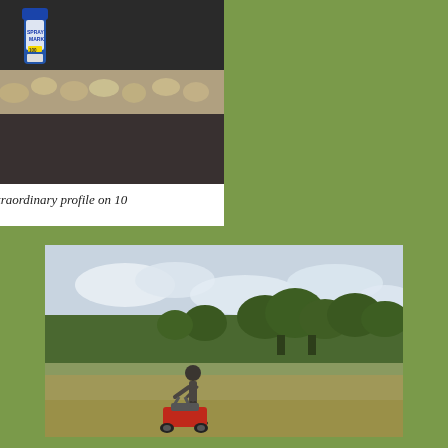[Figure (photo): Close-up photograph of an extraordinary soil profile cross-section showing distinct layers: dark topsoil/organic layer at top, a band of gravel/stones in the middle, and dark clay/soil below. A spray paint can is visible standing upright in the trench for scale.]
The extraordinary profile on 10
[Figure (photo): Outdoor photograph of a person operating a walk-behind lawn mowing or aerating machine on a golf course fairway. Trees are visible in the background under an overcast sky.]